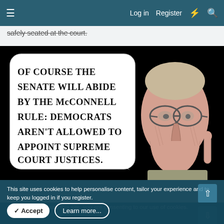≡   Log in   Register   ⚡   🔍
safely seated at the court.
[Figure (illustration): Political cartoon showing a caricature of Mitch McConnell with an elongated face, glasses, and a raised finger, with a speech bubble reading: OF COURSE THE SENATE WILL ABIDE BY THE McCONNELL RULE: DEMOCRATS AREN'T ALLOWED TO APPOINT SUPREME COURT JUSTICES.]
This site uses cookies to help personalise content, tailor your experience and to keep you logged in if you register.
By continuing to use this site, you are consenting to our use of cookies.
✓ Accept
Learn more...